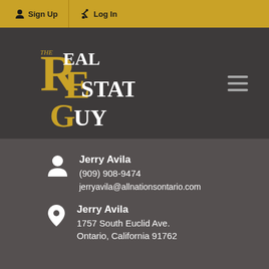Sign Up | Log In
[Figure (logo): The Real Estate Guy logo with gold and white lettering on dark background]
Jerry Avila
(909) 908-9474
jerryavila@allnationsontario.com
Jerry Avila
1757 South Euclid Ave.
Ontario, California 91762